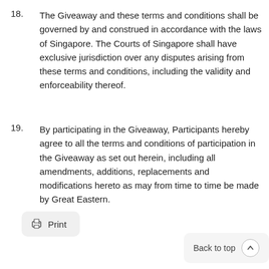18. The Giveaway and these terms and conditions shall be governed by and construed in accordance with the laws of Singapore. The Courts of Singapore shall have exclusive jurisdiction over any disputes arising from these terms and conditions, including the validity and enforceability thereof.
19. By participating in the Giveaway, Participants hereby agree to all the terms and conditions of participation in the Giveaway as set out herein, including all amendments, additions, replacements and modifications hereto as may from time to time be made by Great Eastern.